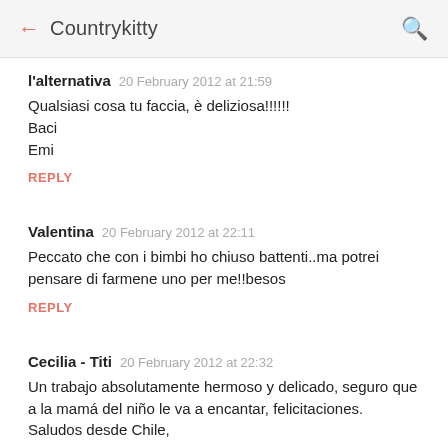← Countrykitty 🔍
l'alternativa  20 February 2012 at 21:59

Qualsiasi cosa tu faccia, è deliziosa!!!!!!
Baci
Emi

REPLY
Valentina  20 February 2012 at 22:11

Peccato che con i bimbi ho chiuso battenti..ma potrei pensare di farmene uno per me!!besos

REPLY
Cecilia - Titi  20 February 2012 at 22:32

Un trabajo absolutamente hermoso y delicado, seguro que a la mamá del niño le va a encantar, felicitaciones.
Saludos desde Chile,